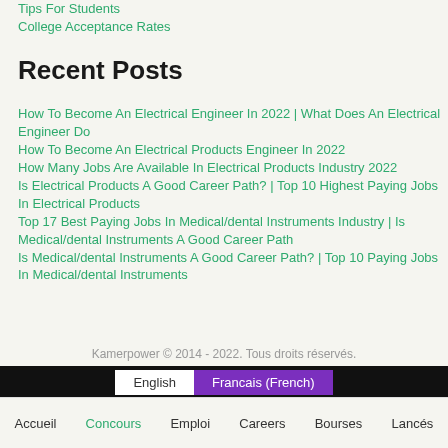Tips For Students
College Acceptance Rates
Recent Posts
How To Become An Electrical Engineer In 2022 | What Does An Electrical Engineer Do
How To Become An Electrical Products Engineer In 2022
How Many Jobs Are Available In Electrical Products Industry 2022
Is Electrical Products A Good Career Path? | Top 10 Highest Paying Jobs In Electrical Products
Top 17 Best Paying Jobs In Medical/dental Instruments Industry | Is Medical/dental Instruments A Good Career Path
Is Medical/dental Instruments A Good Career Path? | Top 10 Paying Jobs In Medical/dental Instruments
Kamerpower © 2014 - 2022. Tous droits réservés.
English  Francais (French)
Accueil  Concours  Emploi  Careers  Bourses  Lancés